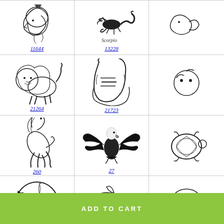[Figure (illustration): Grid of clip art images with product codes. Row 1: Roman warrior head (11644), scorpion script (13228), partial third image. Row 2: Lion (21264), knight helmet (21723), partial third. Row 3: Rearing horse (260), bald eagle (27), partial turtle. Row 4: Whale in circle (3123), dolphin over waves (3386), partial third. Row 5: Partial row of images. ADD TO CART green button at bottom.]
ADD TO CART